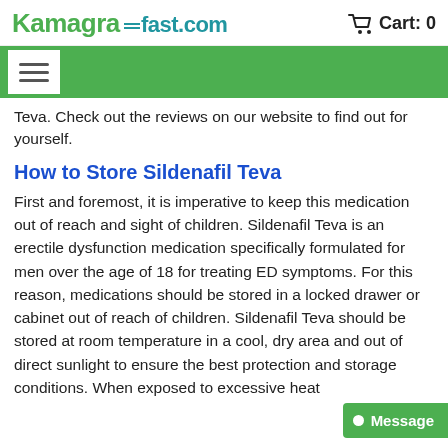Kamagra fast.com  Cart: 0
[Figure (screenshot): Green navigation bar with white hamburger menu icon box on left]
Teva. Check out the reviews on our website to find out for yourself.
How to Store Sildenafil Teva
First and foremost, it is imperative to keep this medication out of reach and sight of children. Sildenafil Teva is an erectile dysfunction medication specifically formulated for men over the age of 18 for treating ED symptoms. For this reason, medications should be stored in a locked drawer or cabinet out of reach of children. Sildenafil Teva should be stored at room temperature in a cool, dry area and out of direct sunlight to ensure the best protection and storage conditions. When exposed to excessive heat
[Figure (screenshot): Green Message button with white dot and text 'Message' at bottom right]